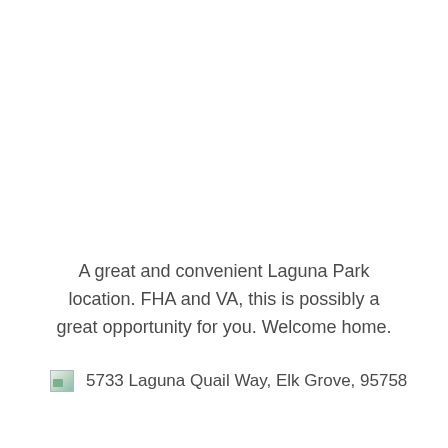A great and convenient Laguna Park location. FHA and VA, this is possibly a great opportunity for you. Welcome home.
5733 Laguna Quail Way, Elk Grove, 95758